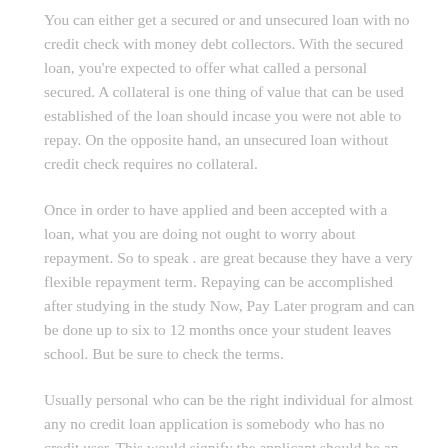You can either get a secured or and unsecured loan with no credit check with money debt collectors. With the secured loan, you're expected to offer what called a personal secured. A collateral is one thing of value that can be used established of the loan should incase you were not able to repay. On the opposite hand, an unsecured loan without credit check requires no collateral.
Once in order to have applied and been accepted with a loan, what you are doing not ought to worry about repayment. So to speak . are great because they have a very flexible repayment term. Repaying can be accomplished after studying in the study Now, Pay Later program and can be done up to six to 12 months once your student leaves school. But be sure to check the terms.
Usually personal who can be the right individual for almost any no credit loan application is somebody who has no credit user. This would signify the applicant should be an person that has no credit cards or any forms of loan in any banking or loan establishments.